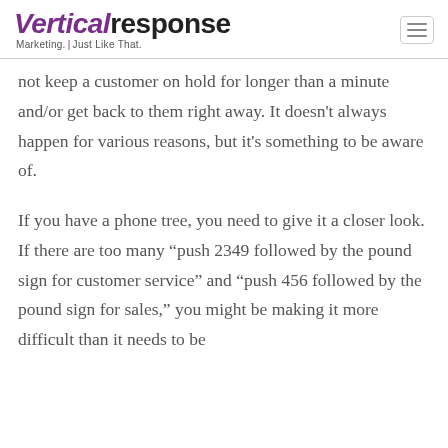VerticalResponse Marketing. Just Like That.
not keep a customer on hold for longer than a minute and/or get back to them right away. It doesn't always happen for various reasons, but it's something to be aware of.
If you have a phone tree, you need to give it a closer look. If there are too many “push 2349 followed by the pound sign for customer service” and “push 456 followed by the pound sign for sales,” you might be making it more difficult than it needs to be